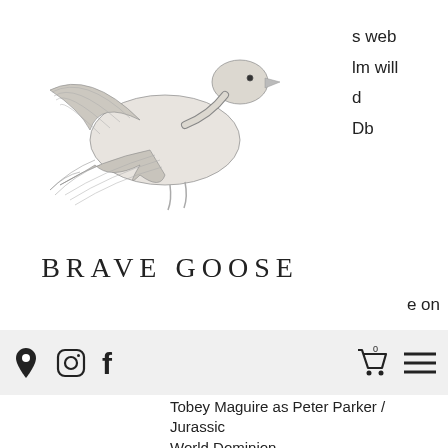[Figure (logo): Brave Goose logo with a flying goose illustration and text BRAVE GOOSE below]
s web
lm will
d
Db
e on
[Figure (screenshot): Navigation bar with location pin, Instagram, Facebook icons on left and cart and hamburger menu icons on right, on grey background]
Tobey Maguire as Peter Parker / Jurassic World Dominion
Andrew Garfield as Peter Parker / Jurassic World Dominion
Zendaya as MJ: Parker’s classmate and girlfriend
Benedict Cumberbatch as Dr. Stephen Strange
Jacob Batalon as Ned Leeds
Jon Favreau as Harold “Happy” Hogan
Marisa Tomei as May Parker
J. B. Smoove as Julius Dell